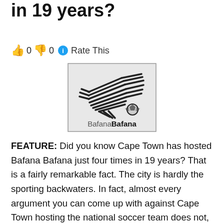in 19 years?
👍 0 👎 0 ℹ Rate This
[Figure (logo): Bafana Bafana logo with stylized bird/eagle shape made of diagonal stripes and a soccer ball, text 'BafanaBafana' at bottom]
FEATURE: Did you know Cape Town has hosted Bafana Bafana just four times in 19 years? That is a fairly remarkable fact. The city is hardly the sporting backwaters. In fact, almost every argument you can come up with against Cape Town hosting the national soccer team does not, on the evidence, appear to hold any weight. To see who has hosted the most games and why Cape Town deserves to see the national team more often, read on.